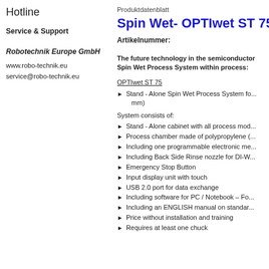Hotline
Produktdatenblatt
Service & Support
Spin Wet- OPTIwet ST 75
Artikelnummer:
Robotechnik Europe GmbH
www.robo-technik.eu
service@robo-technik.eu
The future technology in the semiconductor Spin Wet Process System within process:
OPTIwet ST 75
Stand - Alone Spin Wet Process System fo... mm)
System consists of:
Stand - Alone cabinet with all process mod...
Process chamber made of polypropylene (...
Including one programmable electronic me...
Including Back Side Rinse nozzle for DI-W...
Emergency Stop Button
Input display unit with touch
USB 2.0 port for data exchange
Including software for PC / Notebook – Fo...
Including an ENGLISH manual on standar...
Price without installation and training
Requires at least one chuck